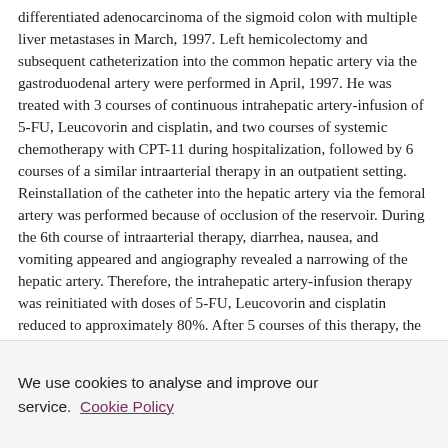differentiated adenocarcinoma of the sigmoid colon with multiple liver metastases in March, 1997. Left hemicolectomy and subsequent catheterization into the common hepatic artery via the gastroduodenal artery were performed in April, 1997. He was treated with 3 courses of continuous intrahepatic artery-infusion of 5-FU, Leucovorin and cisplatin, and two courses of systemic chemotherapy with CPT-11 during hospitalization, followed by 6 courses of a similar intraarterial therapy in an outpatient setting. Reinstallation of the catheter into the hepatic artery via the femoral artery was performed because of occlusion of the reservoir. During the 6th course of intraarterial therapy, diarrhea, nausea, and vomiting appeared and angiography revealed a narrowing of the hepatic artery. Therefore, the intrahepatic artery-infusion therapy was reinitiated with doses of 5-FU, Leucovorin and cisplatin reduced to approximately 80%. After 5 courses of this therapy, the computed tomography scan showed a marked decrease in the size of the metastatic hepatic lesions by 90%, and the serum level of CEA decreased from
We use cookies to analyse and improve our service. Cookie Policy